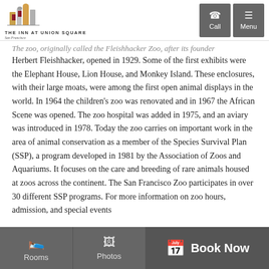The Inn at Union Square, San Francisco — Call | Menu
The zoo, originally called the Fleishhacker Zoo, after its founder Herbert Fleishhacker, opened in 1929. Some of the first exhibits were the Elephant House, Lion House, and Monkey Island. These enclosures, with their large moats, were among the first open animal displays in the world. In 1964 the children's zoo was renovated and in 1967 the African Scene was opened. The zoo hospital was added in 1975, and an aviary was introduced in 1978. Today the zoo carries on important work in the area of animal conservation as a member of the Species Survival Plan (SSP), a program developed in 1981 by the Association of Zoos and Aquariums. It focuses on the care and breeding of rare animals housed at zoos across the continent. The San Francisco Zoo participates in over 30 different SSP programs. For more information on zoo hours, admission, and special events
Rooms | Photos | Book Now